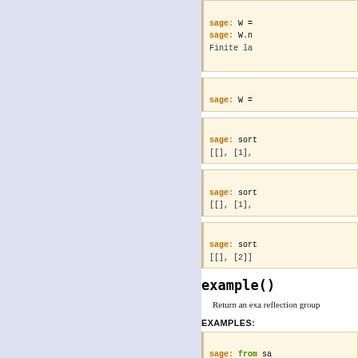[Figure (other): Left sidebar panel with light blue-gray background]
sage: W =
sage: W.n
Finite la
sage: W =
sage: sort
[[], [1],
sage: sort
[[], [1],
sage: sort
[[], [2]]
example()
Return an exa reflection group
EXAMPLES:
sage: from sa
sage: Comple
Irreducible c